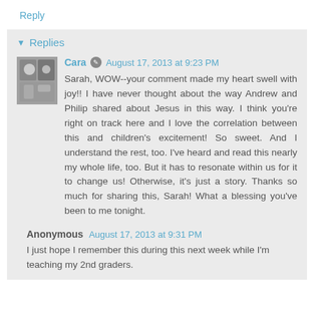Reply
▼ Replies
Cara · August 17, 2013 at 9:23 PM
Sarah, WOW--your comment made my heart swell with joy!! I have never thought about the way Andrew and Philip shared about Jesus in this way. I think you're right on track here and I love the correlation between this and children's excitement! So sweet. And I understand the rest, too. I've heard and read this nearly my whole life, too. But it has to resonate within us for it to change us! Otherwise, it's just a story. Thanks so much for sharing this, Sarah! What a blessing you've been to me tonight.
Anonymous · August 17, 2013 at 9:31 PM
I just hope I remember this during this next week while I'm teaching my 2nd graders.